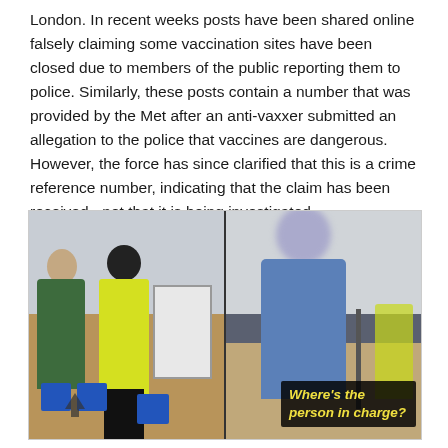London. In recent weeks posts have been shared online falsely claiming some vaccination sites have been closed due to members of the public reporting them to police. Similarly, these posts contain a number that was provided by the Met after an anti-vaxxer submitted an allegation to the police that vaccines are dangerous. However, the force has since clarified that this is a crime reference number, indicating that the claim has been received - not that it is being investigated.
[Figure (photo): Two side-by-side video stills from inside a vaccination centre. Left image shows a man in a green jacket, a person in a yellow hi-vis vest, and a whiteboard, with blue chairs on a brown floor. Right image shows a woman in a denim shirt looking down, with a blurred face, and a subtitle overlay reading 'Where's the person in charge?' in yellow italic text on a black background.]